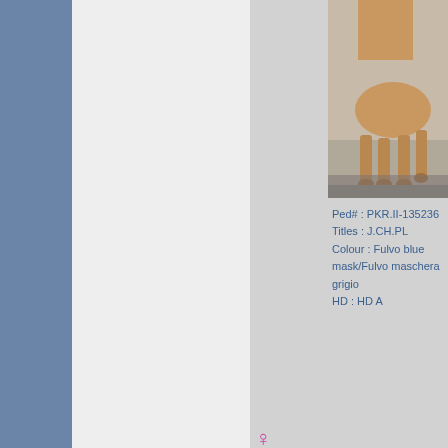[Figure (photo): A dog (Cane Corso/Corso Doro breed) standing sideways, tan/fawn colored, photographed outdoors on a paved surface. The photo shows the dog from roughly the neck/shoulder area down to the legs.]
Ped# : PKR.II-135236
Titles : J.CH.PL
Colour : Fulvo blue mask/Fulvo maschera grigio
HD : HD A
♀ CICIOLINA CUORE MIO CORSO DORO
Ped# : PKR.II-153603
Titles :
Colour : Fulvo blue mask/Fulvo maschera